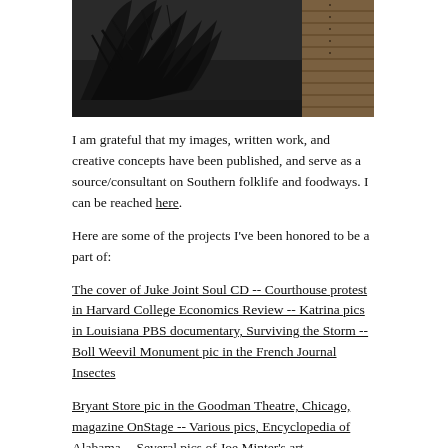[Figure (photo): Dark outdoor photo showing tree branches and a building with siding, dark tones]
I am grateful that my images, written work, and creative concepts have been published, and serve as a source/consultant on Southern folklife and foodways. I can be reached here.
Here are some of the projects I've been honored to be a part of:
The cover of Juke Joint Soul CD -- Courthouse protest in Harvard College Economics Review -- Katrina pics in Louisiana PBS documentary, Surviving the Storm -- Boll Weevil Monument pic in the French Journal Insectes
Bryant Store pic in the Goodman Theatre, Chicago, magazine OnStage -- Various pics, Encyclopedia of Alabama -- Several pics of Joe Minter's art environment